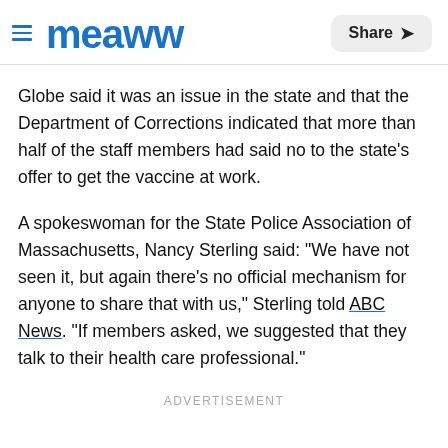Meaww | Share
Globe said it was an issue in the state and that the Department of Corrections indicated that more than half of the staff members had said no to the state's offer to get the vaccine at work.
A spokeswoman for the State Police Association of Massachusetts, Nancy Sterling said: "We have not seen it, but again there's no official mechanism for anyone to share that with us," Sterling told ABC News. "If members asked, we suggested that they talk to their health care professional."
ADVERTISEMENT